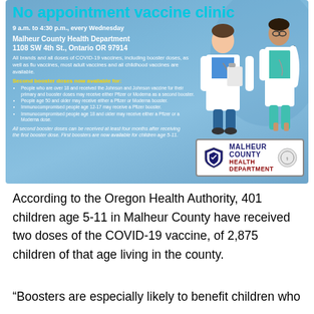[Figure (infographic): No appointment vaccine clinic flyer from Malheur County Health Department. Blue background with illustrated healthcare workers. Details: 9 a.m. to 4:30 p.m., every Wednesday, Malheur County Health Department, 1108 SW 4th St., Ontario OR 97914. Lists COVID-19 vaccine information, second booster eligibility, and Malheur County Health Department logo.]
According to the Oregon Health Authority, 401 children age 5-11 in Malheur County have received two doses of the COVID-19 vaccine, of 2,875 children of that age living in the county.
“Boosters are especially likely to benefit children who